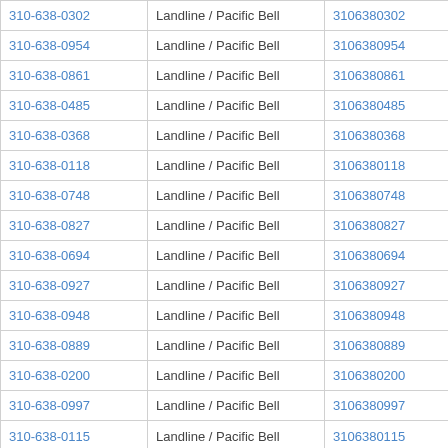| Phone | Type | Digits | Action |
| --- | --- | --- | --- |
| 310-638-0302 | Landline / Pacific Bell | 3106380302 | View Results |
| 310-638-0954 | Landline / Pacific Bell | 3106380954 | View Results |
| 310-638-0861 | Landline / Pacific Bell | 3106380861 | View Results |
| 310-638-0485 | Landline / Pacific Bell | 3106380485 | View Results |
| 310-638-0368 | Landline / Pacific Bell | 3106380368 | View Results |
| 310-638-0118 | Landline / Pacific Bell | 3106380118 | View Results |
| 310-638-0748 | Landline / Pacific Bell | 3106380748 | View Results |
| 310-638-0827 | Landline / Pacific Bell | 3106380827 | View Results |
| 310-638-0694 | Landline / Pacific Bell | 3106380694 | View Results |
| 310-638-0927 | Landline / Pacific Bell | 3106380927 | View Results |
| 310-638-0948 | Landline / Pacific Bell | 3106380948 | View Results |
| 310-638-0889 | Landline / Pacific Bell | 3106380889 | View Results |
| 310-638-0200 | Landline / Pacific Bell | 3106380200 | View Results |
| 310-638-0997 | Landline / Pacific Bell | 3106380997 | View Results |
| 310-638-0115 | Landline / Pacific Bell | 3106380115 | View Results |
| 310-638-0755 | Landline / Pacific Bell | 3106380755 | View Results |
| 310-638-0326 | Landline / Pacific Bell | 3106380326 | View Results |
| 310-638-0556 | Landline / Pacific Bell | 3106380556 | View Results |